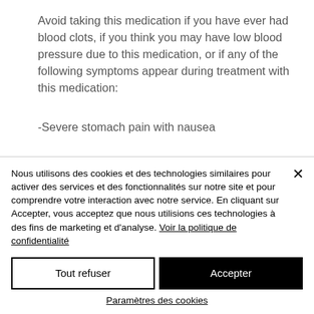Avoid taking this medication if you have ever had blood clots, if you think you may have low blood pressure due to this medication, or if any of the following symptoms appear during treatment with this medication:
-Severe stomach pain with nausea
Nous utilisons des cookies et des technologies similaires pour activer des services et des fonctionnalités sur notre site et pour comprendre votre interaction avec notre service. En cliquant sur Accepter, vous acceptez que nous utilisions ces technologies à des fins de marketing et d'analyse. Voir la politique de confidentialité
Tout refuser
Accepter
Paramètres des cookies